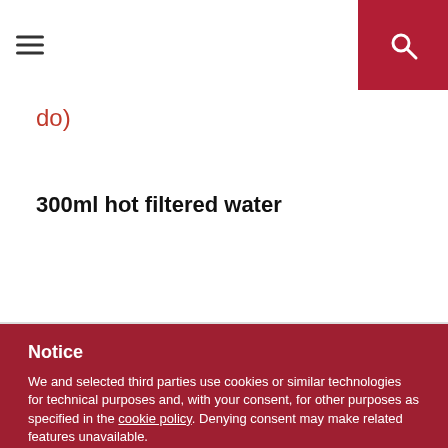do)
300ml hot filtered water
Notice
We and selected third parties use cookies or similar technologies for technical purposes and, with your consent, for other purposes as specified in the cookie policy. Denying consent may make related features unavailable.
Use the “Accept” button to consent to the use of such technologies.
Accept
Learn more and customize